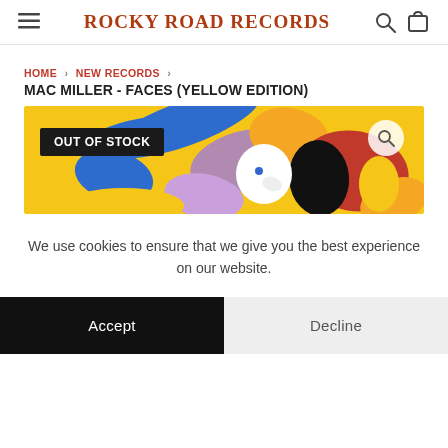Rocky Road Records
HOME > NEW RECORDS > MAC MILLER - FACES (YELLOW EDITION)
MAC MILLER - FACES (YELLOW EDITION)
[Figure (illustration): Yellow background album artwork for Mac Miller - Faces with colorful illustrated figures and an 'OUT OF STOCK' badge overlay.]
We use cookies to ensure that we give you the best experience on our website.
Accept    Decline